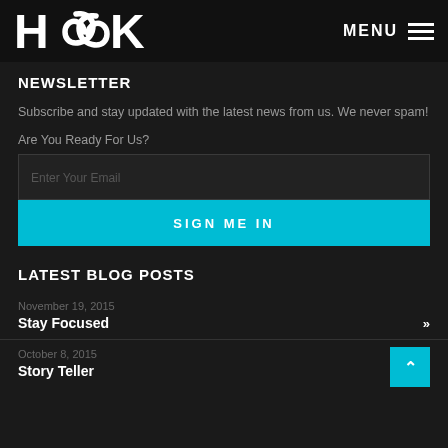HOOK — MENU
NEWSLETTER
Subscribe and stay updated with the latest news from us. We never spam!
Are You Ready For Us?
Enter Your Email
SIGN ME IN
LATEST BLOG POSTS
November 19, 2015
Stay Focused
October 8, 2015
Story Teller